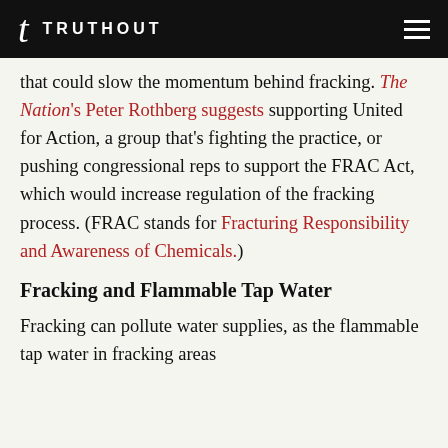TRUTHOUT
that could slow the momentum behind fracking. The Nation's Peter Rothberg suggests supporting United for Action, a group that's fighting the practice, or pushing congressional reps to support the FRAC Act, which would increase regulation of the fracking process. (FRAC stands for Fracturing Responsibility and Awareness of Chemicals.)
Fracking and Flammable Tap Water
Fracking can pollute water supplies, as the flammable tap water in fracking areas